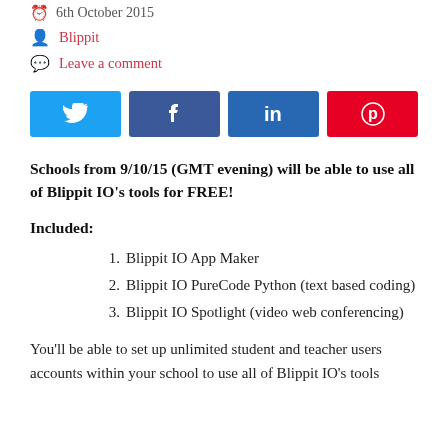6th October 2015
Blippit
Leave a comment
[Figure (other): Social share buttons: Twitter, Facebook, LinkedIn, Pinterest]
Schools from 9/10/15 (GMT evening) will be able to use all of Blippit IO's tools for FREE!
Included:
Blippit IO App Maker
Blippit IO PureCode Python (text based coding)
Blippit IO Spotlight (video web conferencing)
You'll be able to set up unlimited student and teacher users accounts within your school to use all of Blippit IO's tools